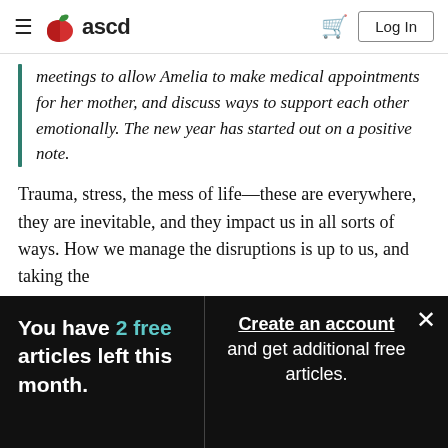ASCD — Log In
meetings to allow Amelia to make medical appointments for her mother, and discuss ways to support each other emotionally. The new year has started out on a positive note.
Trauma, stress, the mess of life—these are everywhere, they are inevitable, and they impact us in all sorts of ways. How we manage the disruptions is up to us, and taking the
You have 2 free articles left this month.
Create an account and get additional free articles.